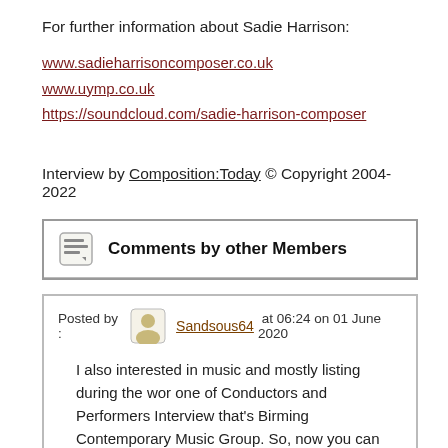For further information about Sadie Harrison:
www.sadieharrisoncomposer.co.uk
www.uymp.co.uk
https://soundcloud.com/sadie-harrison-composer
Interview by Composition:Today © Copyright 2004-2022
Comments by other Members
Posted by : Sandsous64 at 06:24 on 01 June 2020
I also interested in music and mostly listing during the wor one of Conductors and Performers Interview that's Birming Contemporary Music Group. So, now you can https://assignmentjunkie.co.uk/buy-college-essay for that